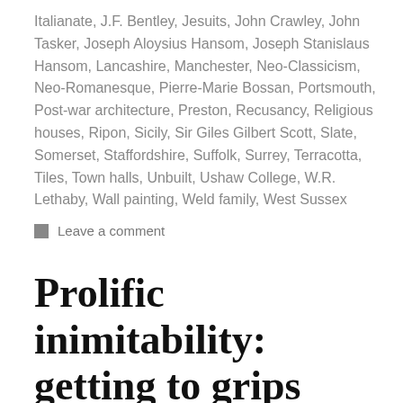Italianate, J.F. Bentley, Jesuits, John Crawley, John Tasker, Joseph Aloysius Hansom, Joseph Stanislaus Hansom, Lancashire, Manchester, Neo-Classicism, Neo-Romanesque, Pierre-Marie Bossan, Portsmouth, Post-war architecture, Preston, Recusancy, Religious houses, Ripon, Sicily, Sir Giles Gilbert Scott, Slate, Somerset, Staffordshire, Suffolk, Surrey, Terracotta, Tiles, Town halls, Unbuilt, Ushaw College, W.R. Lethaby, Wall painting, Weld family, West Sussex
Leave a comment
Prolific inimitability: getting to grips with S.S. Teulon (1812-1873)